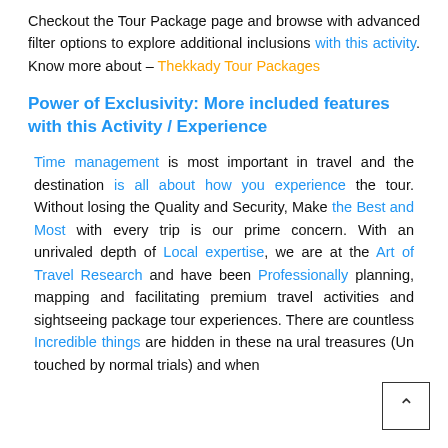Checkout the Tour Package page and browse with advanced filter options to explore additional inclusions with this activity. Know more about – Thekkady Tour Packages
Power of Exclusivity: More included features with this Activity / Experience
Time management is most important in travel and the destination is all about how you experience the tour. Without losing the Quality and Security, Make the Best and Most with every trip is our prime concern. With an unrivaled depth of Local expertise, we are at the Art of Travel Research and have been Professionally planning, mapping and facilitating premium travel activities and sightseeing package tour experiences. There are countless Incredible things are hidden in these natural treasures (Un touched by normal trials) and when travel with us, the prime advantage to connect the latest